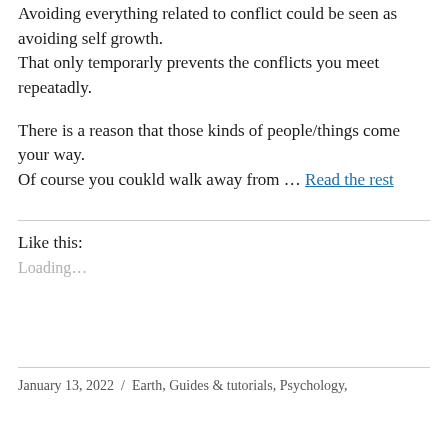Avoiding everything related to conflict could be seen as avoiding self growth. That only temporarly prevents the conflicts you meet repeatadly.
There is a reason that those kinds of people/things come your way. Of course you coukld walk away from … Read the rest
Like this:
Loading...
January 13, 2022 / Earth, Guides & tutorials, Psychology,